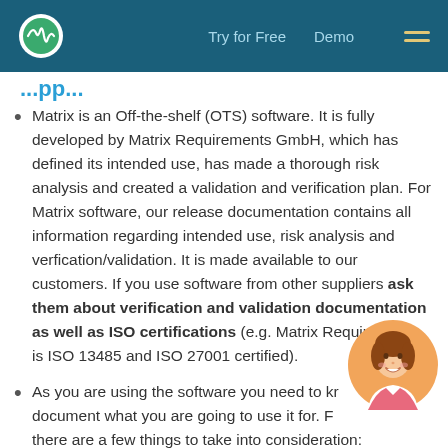Try for Free   Demo
...pp...
Matrix is an Off-the-shelf (OTS) software. It is fully developed by Matrix Requirements GmbH, which has defined its intended use, has made a thorough risk analysis and created a validation and verification plan. For Matrix software, our release documentation contains all information regarding intended use, risk analysis and verfication/validation. It is made available to our customers. If you use software from other suppliers ask them about verification and validation documentation as well as ISO certifications (e.g. Matrix Requirements is ISO 13485 and ISO 27001 certified).
As you are using the software you need to know and document what you are going to use it for. For this there are a few things to take into consideration:
[Figure (illustration): Cartoon avatar of a woman with brown hair, wearing a pink/white top, shown as a circular icon in the bottom-right corner.]